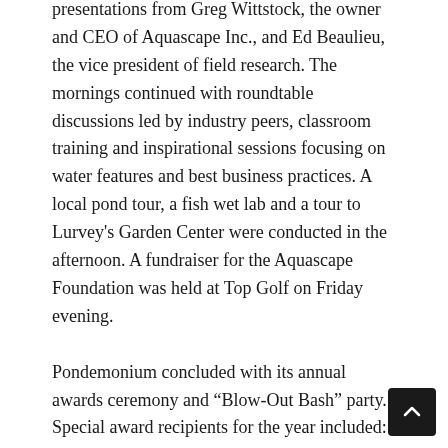presentations from Greg Wittstock, the owner and CEO of Aquascape Inc., and Ed Beaulieu, the vice president of field research. The mornings continued with roundtable discussions led by industry peers, classroom training and inspirational sessions focusing on water features and best business practices. A local pond tour, a fish wet lab and a tour to Lurvey's Garden Center were conducted in the afternoon. A fundraiser for the Aquascape Foundation was held at Top Golf on Friday evening.
Pondemonium concluded with its annual awards ceremony and “Blow-Out Bash” party. Special award recipients for the year included:
Businessman of the Year: Joe Phagan of Living Waterscapes, Kernersville, North Carolina
Certified Aquascape Contractor of the Year: